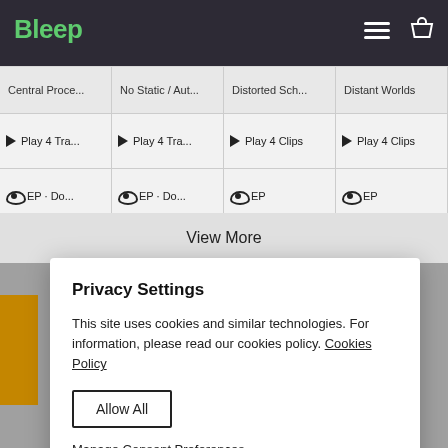Bleep
[Figure (screenshot): Music product grid with 4 columns: Central Proce..., No Static / Aut..., Distorted Sch..., Distant Worlds. Each with Play 4 Tra... or Play 4 Clips buttons and EP labels.]
View More
Privacy Settings
This site uses cookies and similar technologies. For information, please read our cookies policy. Cookies Policy
Allow All
Manage Consent Preferences